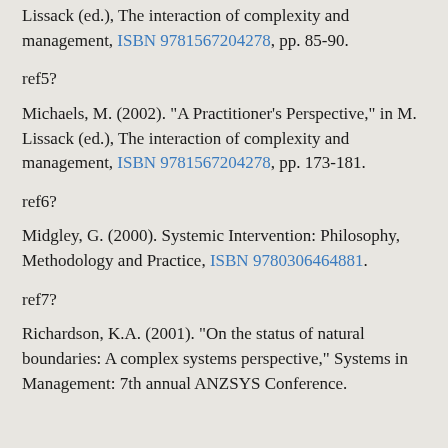Lissack (ed.), The interaction of complexity and management, ISBN 9781567204278, pp. 85-90.
ref5?
Michaels, M. (2002). "A Practitioner's Perspective," in M. Lissack (ed.), The interaction of complexity and management, ISBN 9781567204278, pp. 173-181.
ref6?
Midgley, G. (2000). Systemic Intervention: Philosophy, Methodology and Practice, ISBN 9780306464881.
ref7?
Richardson, K.A. (2001). "On the status of natural boundaries: A complex systems perspective," Systems in Management: 7th annual ANZSYS Conference.